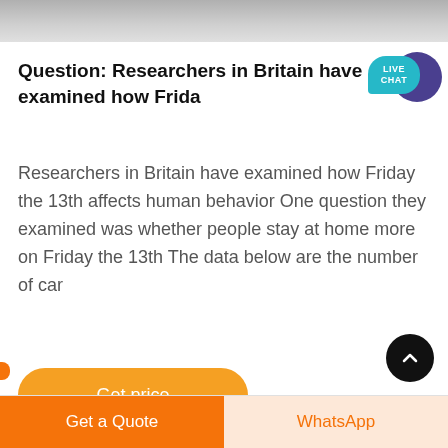[Figure (photo): Partial top image showing vehicles, cropped at top of page]
Question: Researchers in Britain have examined how Frida
Researchers in Britain have examined how Friday the 13th affects human behavior One question they examined was whether people stay at home more on Friday the 13th The data below are the number of car
[Figure (other): Get price orange button]
Get a Quote   WhatsApp